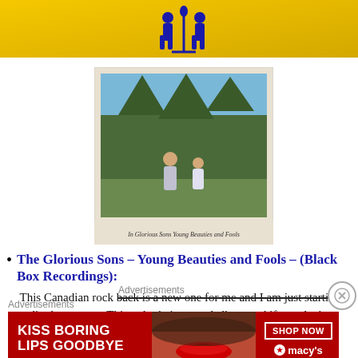[Figure (illustration): Yellow banner advertisement at top of page with blue figure/character illustration]
[Figure (photo): Album cover for The Glorious Sons - Young Beauties and Fools, showing two people outdoors with trees, polaroid-style with handwritten caption]
The Glorious Sons – Young Beauties and Fools – (Black Box Recordings): This Canadian rock back is a new one for me and I am just starting to dig these guys. This only their second album and if you don't know who they are, give them a try. Good old rock and roll.
Advertisements
Advertisements
[Figure (photo): Macy's advertisement banner: KISS BORING LIPS GOODBYE with SHOP NOW button and Macy's star logo, featuring woman's face with red lips]